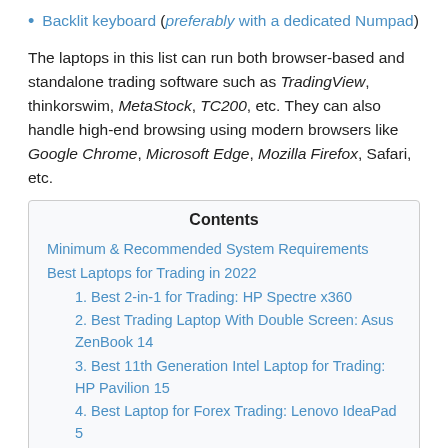Backlit keyboard (preferably with a dedicated Numpad)
The laptops in this list can run both browser-based and standalone trading software such as TradingView, thinkorswim, MetaStock, TC200, etc. They can also handle high-end browsing using modern browsers like Google Chrome, Microsoft Edge, Mozilla Firefox, Safari, etc.
Contents
Minimum & Recommended System Requirements
Best Laptops for Trading in 2022
1. Best 2-in-1 for Trading: HP Spectre x360
2. Best Trading Laptop With Double Screen: Asus ZenBook 14
3. Best 11th Generation Intel Laptop for Trading: HP Pavilion 15
4. Best Laptop for Forex Trading: Lenovo IdeaPad 5